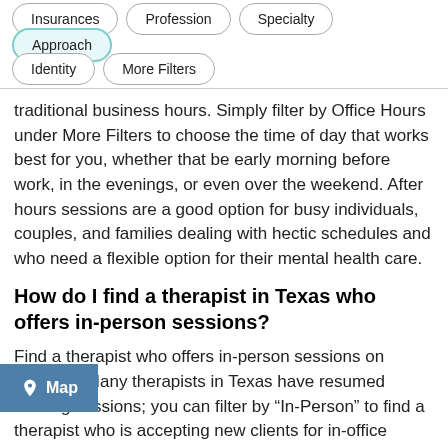Insurances
Profession
Specialty
Approach
Identity
More Filters
traditional business hours. Simply filter by Office Hours under More Filters to choose the time of day that works best for you, whether that be early morning before work, in the evenings, or even over the weekend. After hours sessions are a good option for busy individuals, couples, and families dealing with hectic schedules and who need a flexible option for their mental health care.
How do I find a therapist in Texas who offers in-person sessions?
Find a therapist who offers in-person sessions on Zencare. Many therapists in Texas have resumed offering sessions; you can filter by “In-Person” to find a therapist who is accepting new clients for in-office sessions. You can also search by map to find providers in
[Figure (other): Map button overlay in blue with location pin icon]